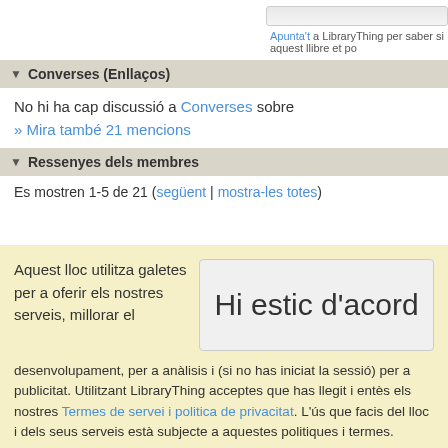Apunta't a LibraryThing per saber si aquest llibre et po
▼ Converses (Enllaços)
No hi ha cap discussió a Converses sobre
» Mira també 21 mencions
▼ Ressenyes dels membres
Es mostren 1-5 de 21 (següent | mostra-les totes)
Aquest lloc utilitza galetes per a oferir els nostres serveis, millorar el
Hi estic d'acord
desenvolupament, per a anàlisis i (si no has iniciat la sessió) per a publicitat. Utilitzant LibraryThing acceptes que has llegit i entès els nostres Termes de servei i politica de privacitat. L'ús que facis del lloc i dels seus serveis està subjecte a aquestes politiques i termes.